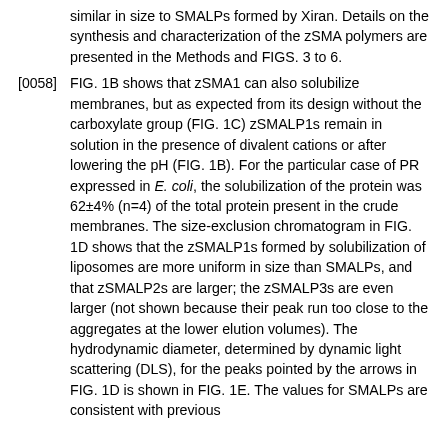similar in size to SMALPs formed by Xiran. Details on the synthesis and characterization of the zSMA polymers are presented in the Methods and FIGS. 3 to 6.
[0058] FIG. 1B shows that zSMA1 can also solubilize membranes, but as expected from its design without the carboxylate group (FIG. 1C) zSMALP1s remain in solution in the presence of divalent cations or after lowering the pH (FIG. 1B). For the particular case of PR expressed in E. coli, the solubilization of the protein was 62±4% (n=4) of the total protein present in the crude membranes. The size-exclusion chromatogram in FIG. 1D shows that the zSMALP1s formed by solubilization of liposomes are more uniform in size than SMALPs, and that zSMALP2s are larger; the zSMALP3s are even larger (not shown because their peak run too close to the aggregates at the lower elution volumes). The hydrodynamic diameter, determined by dynamic light scattering (DLS), for the peaks pointed by the arrows in FIG. 1D is shown in FIG. 1E. The values for SMALPs are consistent with previous